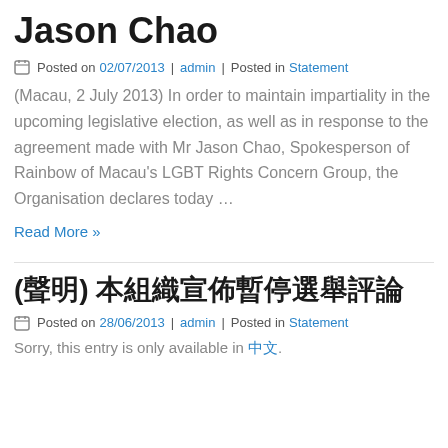Jason Chao
Posted on 02/07/2013 |admin | Posted in Statement
(Macau, 2 July 2013) In order to maintain impartiality in the upcoming legislative election, as well as in response to the agreement made with Mr Jason Chao, Spokesperson of Rainbow of Macau's LGBT Rights Concern Group, the Organisation declares today …
Read More »
(聲明) 本組織宣佈暫停選舉評論
Posted on 28/06/2013 |admin | Posted in Statement
Sorry, this entry is only available in 中文.